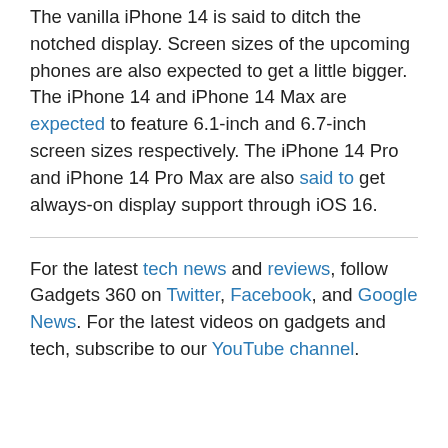The vanilla iPhone 14 is said to ditch the notched display. Screen sizes of the upcoming phones are also expected to get a little bigger. The iPhone 14 and iPhone 14 Max are expected to feature 6.1-inch and 6.7-inch screen sizes respectively. The iPhone 14 Pro and iPhone 14 Pro Max are also said to get always-on display support through iOS 16.
For the latest tech news and reviews, follow Gadgets 360 on Twitter, Facebook, and Google News. For the latest videos on gadgets and tech, subscribe to our YouTube channel.